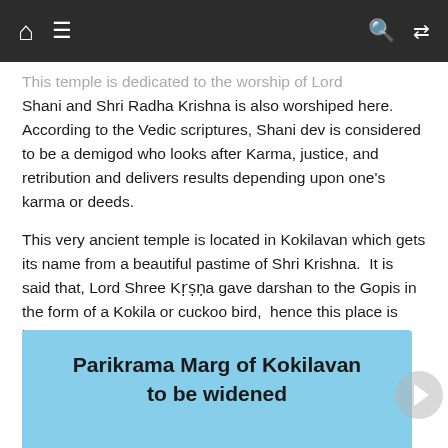Navigation bar with home, menu, search, and shuffle icons
This temple is dedicated to the worship of Lord Shani and Shri Radha Krishna is also worshiped here. According to the Vedic scriptures, Shani dev is considered to be a demigod who looks after Karma, justice, and retribution and delivers results depending upon one's karma or deeds.
This very ancient temple is located in Kokilavan which gets its name from a beautiful pastime of Shri Krishna.  It is said that, Lord Shree Kṛṣṇa gave darshan to the Gopis in the form of a Kokila or cuckoo bird,  hence this place is known as Kokilvan.
Parikrama Marg of Kokilavan to be widened